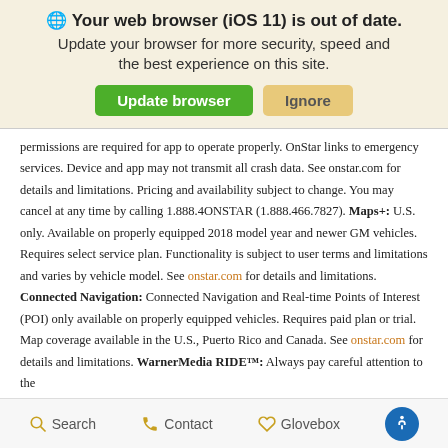🌐 Your web browser (iOS 11) is out of date. Update your browser for more security, speed and the best experience on this site.
permissions are required for app to operate properly. OnStar links to emergency services. Device and app may not transmit all crash data. See onstar.com for details and limitations. Pricing and availability subject to change. You may cancel at any time by calling 1.888.4ONSTAR (1.888.466.7827). Maps+: U.S. only. Available on properly equipped 2018 model year and newer GM vehicles. Requires select service plan. Functionality is subject to user terms and limitations and varies by vehicle model. See onstar.com for details and limitations. Connected Navigation: Connected Navigation and Real-time Points of Interest (POI) only available on properly equipped vehicles. Requires paid plan or trial. Map coverage available in the U.S., Puerto Rico and Canada. See onstar.com for details and limitations. WarnerMedia RIDE™: Always pay careful attention to the
Search   Contact   Glovebox